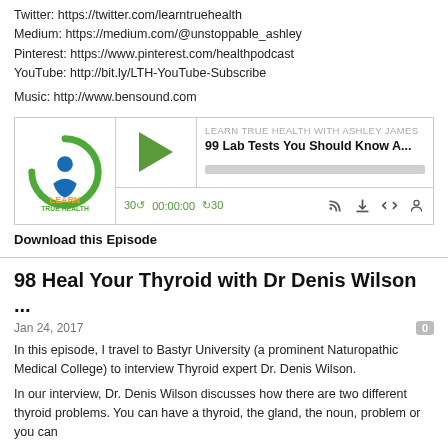Twitter: https://twitter.com/learntruehealth
Medium: https://medium.com/@unstoppable_ashley
Pinterest: https://www.pinterest.com/healthpodcast
YouTube: http://bit.ly/LTH-YouTube-Subscribe
Music: http://www.bensound.com
[Figure (screenshot): Podcast player widget for 'Learn True Health with Ashley James' showing episode '99 Lab Tests You Should Know A...' with play button, progress bar, timer showing 30 skip back, 00:00:00, skip forward 30, and control icons]
Download this Episode
98 Heal Your Thyroid with Dr Denis Wilson ...
Jan 24, 2017
In this episode, I travel to Bastyr University (a prominent Naturopathic Medical College) to interview Thyroid expert Dr. Denis Wilson.
In our interview, Dr. Denis Wilson discusses how there are two different thyroid problems. You can have a thyroid, the gland, the noun, problem or you can